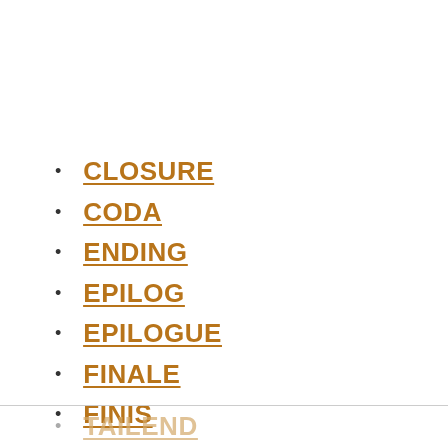CLOSURE
CODA
ENDING
EPILOG
EPILOGUE
FINALE
FINIS
TAILEND
STOP